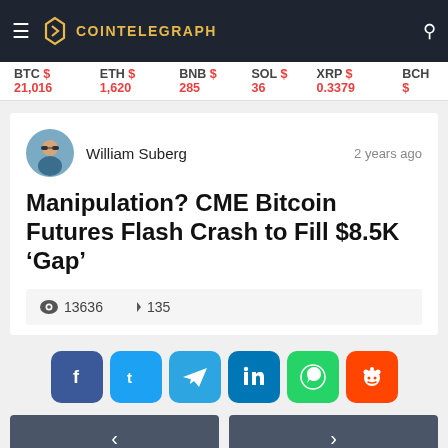CoinTelegraph
BTC $21,016  ETH $1,620  BNB $285  SOL $36  XRP $0.3379  BCH $
William Suberg  2 years ago
Manipulation? CME Bitcoin Futures Flash Crash to Fill $8.5K ‘Gap’
13636  135
[Figure (infographic): Social share buttons: Facebook, Twitter, Telegram, LinkedIn, WhatsApp, Reddit]
< navigation arrows >